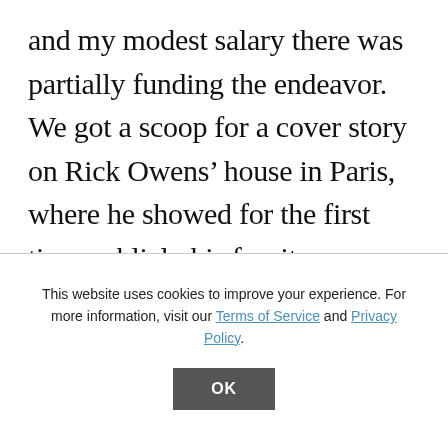and my modest salary there was partially funding the endeavor. We got a scoop for a cover story on Rick Owens’ house in Paris, where he showed for the first time publicly his furniture designs. His unmade, post-coital bed graced the cover next to a photo of a phallic skyscraper prosthesis. Interviews with Zaha Hadid, Daniel A...
This website uses cookies to improve your experience. For more information, visit our Terms of Service and Privacy Policy.
OK